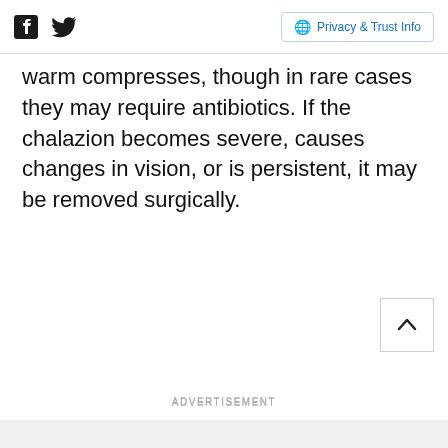Facebook Twitter | Privacy & Trust Info
warm compresses, though in rare cases they may require antibiotics. If the chalazion becomes severe, causes changes in vision, or is persistent, it may be removed surgically.
ADVERTISEMENT
ADVERTISEMENT